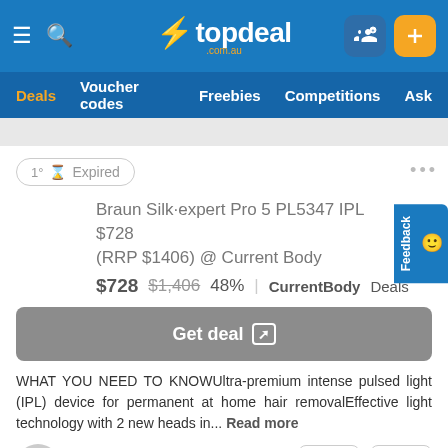topdeal .com.au
Deals  Voucher codes  Freebies  Competitions  Ask
1° ⌛ Expired
Braun Silk·expert Pro 5 PL5347 IPL $728 (RRP $1406) @ Current Body
$728  $1,406  48%  |  CurrentBody  Deals
Get deal
WHAT YOU NEED TO KNOWUltra-premium intense pulsed light (IPL) device for permanent at home hair removalEffective light technology with 2 new heads in... Read more
goodboy
0